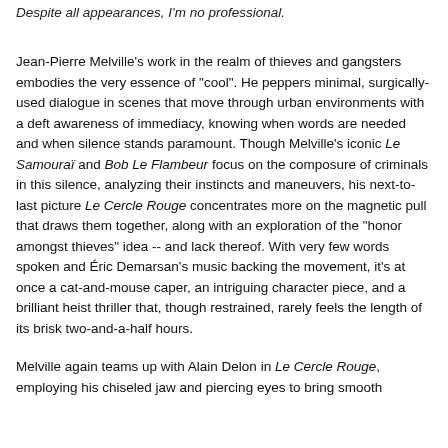Despite all appearances, I'm no professional.
Jean-Pierre Melville's work in the realm of thieves and gangsters embodies the very essence of "cool". He peppers minimal, surgically-used dialogue in scenes that move through urban environments with a deft awareness of immediacy, knowing when words are needed and when silence stands paramount. Though Melville's iconic Le Samouraï and Bob Le Flambeur focus on the composure of criminals in this silence, analyzing their instincts and maneuvers, his next-to-last picture Le Cercle Rouge concentrates more on the magnetic pull that draws them together, along with an exploration of the "honor amongst thieves" idea -- and lack thereof. With very few words spoken and Éric Demarsan's music backing the movement, it's at once a cat-and-mouse caper, an intriguing character piece, and a brilliant heist thriller that, though restrained, rarely feels the length of its brisk two-and-a-half hours.
Melville again teams up with Alain Delon in Le Cercle Rouge, employing his chiseled jaw and piercing eyes to bring smooth